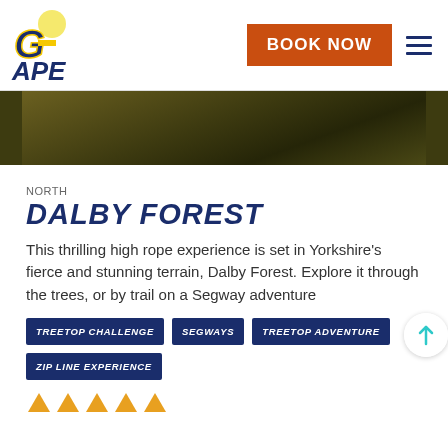[Figure (logo): Go Ape logo — stylized letters G and APE in blue with yellow accent and a circular element]
BOOK NOW
[Figure (photo): Blurred/dark forest canopy hero image banner]
NORTH
DALBY FOREST
This thrilling high rope experience is set in Yorkshire's fierce and stunning terrain, Dalby Forest. Explore it through the trees, or by trail on a Segway adventure
TREETOP CHALLENGE
SEGWAYS
TREETOP ADVENTURE
ZIP LINE EXPERIENCE